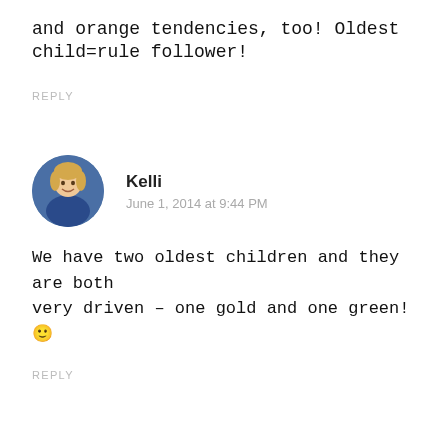and orange tendencies, too! Oldest child=rule follower!
REPLY
Kelli
June 1, 2014 at 9:44 PM
We have two oldest children and they are both very driven – one gold and one green! 🙂
REPLY